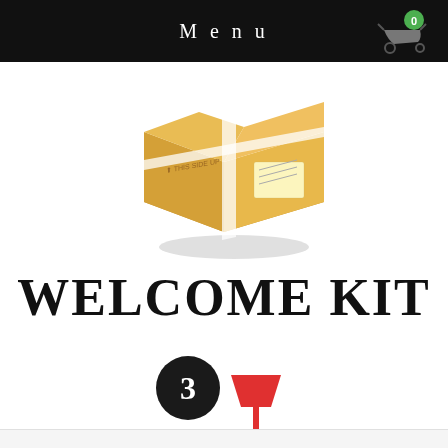Menu
[Figure (illustration): A cardboard shipping box with white tape straps and a shipping label, shown in isometric/3D view]
WELCOME KIT
[Figure (illustration): A dark circular badge with the number 3 in white, and below it a red garden trowel/shovel icon]